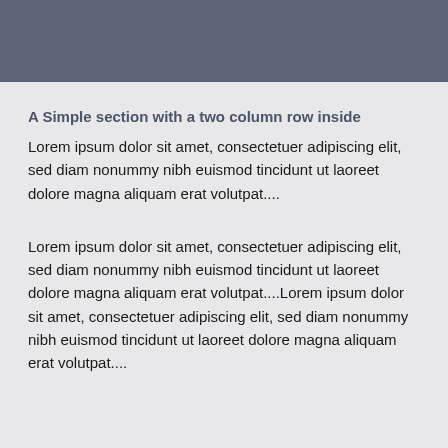A Simple section with a two column row inside
Lorem ipsum dolor sit amet, consectetuer adipiscing elit, sed diam nonummy nibh euismod tincidunt ut laoreet dolore magna aliquam erat volutpat....
Lorem ipsum dolor sit amet, consectetuer adipiscing elit, sed diam nonummy nibh euismod tincidunt ut laoreet dolore magna aliquam erat volutpat....Lorem ipsum dolor sit amet, consectetuer adipiscing elit, sed diam nonummy nibh euismod tincidunt ut laoreet dolore magna aliquam erat volutpat....